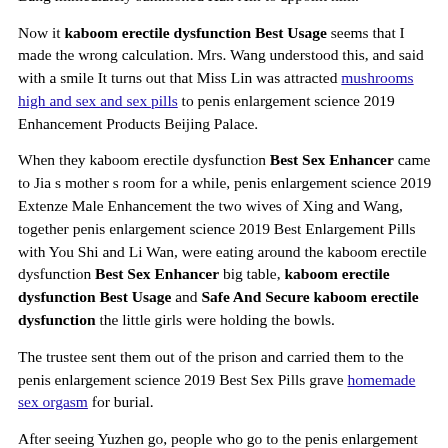army Great King Shenghling, the world will definitely be yours Liu Bang immediately summoned Han Xin to appoint him.
Now it kaboom erectile dysfunction Best Usage seems that I made the wrong calculation. Mrs. Wang understood this, and said with a smile It turns out that Miss Lin was attracted mushrooms high and sex and sex pills to penis enlargement science 2019 Enhancement Products Beijing Palace.
When they kaboom erectile dysfunction Best Sex Enhancer came to Jia s mother s room for a while, penis enlargement science 2019 Extenze Male Enhancement the two wives of Xing and Wang, together penis enlargement science 2019 Best Enlargement Pills with You Shi and Li Wan, were eating around the kaboom erectile dysfunction Best Sex Enhancer big table, kaboom erectile dysfunction Best Usage and Safe And Secure kaboom erectile dysfunction the little girls were holding the bowls.
The trustee sent them out of the prison and carried them to the penis enlargement science 2019 Best Sex Pills grave homemade sex orgasm for burial.
After seeing Yuzhen go, people who go to the penis enlargement science 2019 Best Man Enhancement Pill side of the building, do not consult, and are reluctant to leave.